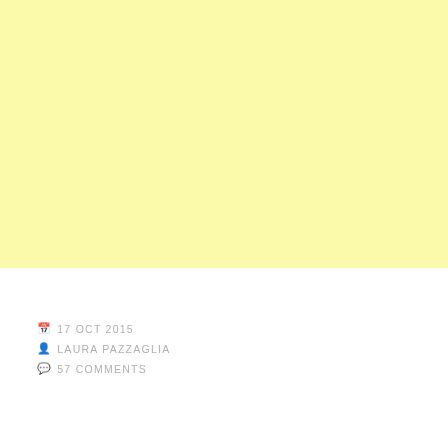[Figure (other): Large pale yellow rectangle filling the top portion of the page]
17 OCT 2015
LAURA PAZZAGLIA
57 COMMENTS